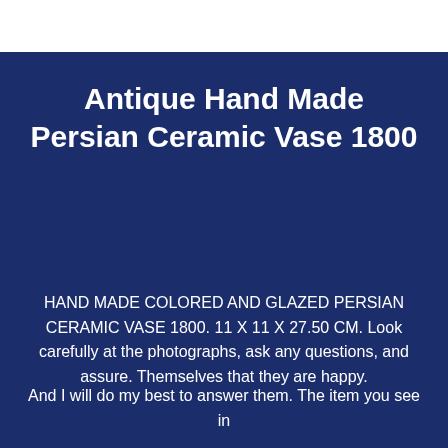Antique Hand Made Persian Ceramic Vase 1800
HAND MADE COLORED AND GLAZED PERSIAN CERAMIC VASE 1800. 11 X 11 X 27.50 CM. Look carefully at the photographs, ask any questions, and assure. Themselves that they are happy.
And I will do my best to answer them. The item you see in